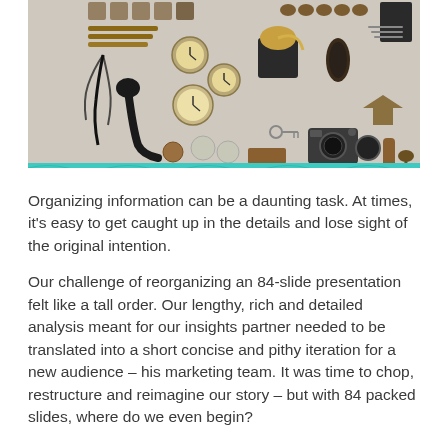[Figure (photo): Flat-lay photo of various organized objects including pocket watches, a camera, keys, coins, pencils, a tobacco pipe, a coffee grinder, brushes, nuts, and other tools and trinkets arranged neatly on a white surface. Below the photo is a teal/turquoise decorative bar with a subtle wave pattern.]
Organizing information can be a daunting task. At times, it's easy to get caught up in the details and lose sight of the original intention.
Our challenge of reorganizing an 84-slide presentation felt like a tall order. Our lengthy, rich and detailed analysis meant for our insights partner needed to be translated into a short concise and pithy iteration for a new audience – his marketing team. It was time to chop, restructure and reimagine our story – but with 84 packed slides, where do we even begin?